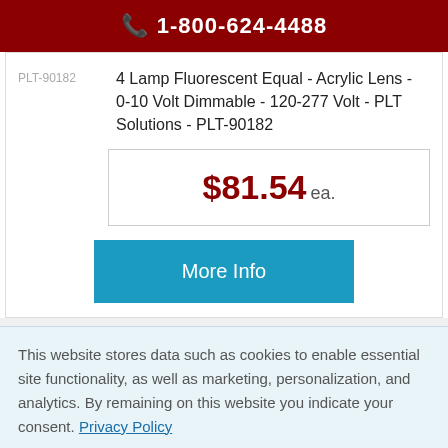1-800-624-4488
PLT-90182
4 Lamp Fluorescent Equal - Acrylic Lens - 0-10 Volt Dimmable - 120-277 Volt - PLT Solutions - PLT-90182
$81.54 ea.
More Info
This website stores data such as cookies to enable essential site functionality, as well as marketing, personalization, and analytics. By remaining on this website you indicate your consent. Privacy Policy